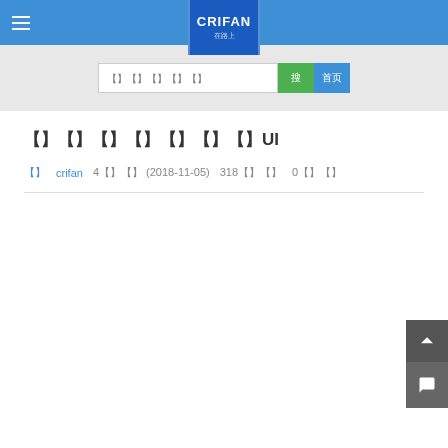CRIFAN 在路上
[Figure (screenshot): Search bar with input field, green search button, and blue home button]
【】【】【】【】【】【】UI
【】  crifan  4【】【】 (2018-11-05)  318【】【】  0【】【】